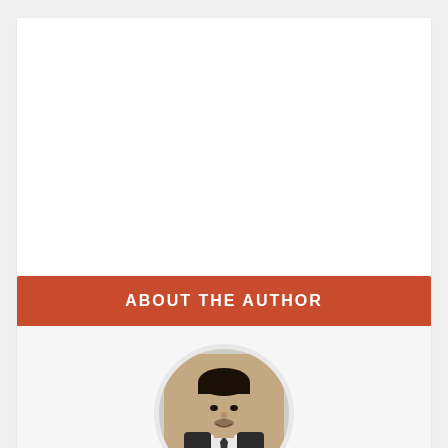[Figure (photo): White card area at the top of the page (blank content area)]
ABOUT THE AUTHOR
[Figure (photo): Circular portrait photo of Shehroz Azam, a young man in a dark suit with a tie]
Shehroz Azam
A Javascript Developer & Linux enthusiast with 4 years of industrial experience and proven know-how to combine creative and usability viewpoints resulting in world-class web applications. I have experience